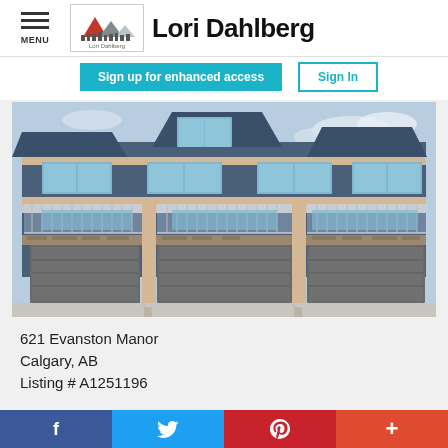Lori Dahlberg
Sign up for enhanced access | Sign In
[Figure (photo): Exterior photo of a multi-unit townhouse with dark blue/grey siding, white trim, balconies with metal railings, stone accents, and multiple attached garages on the ground floor. Concrete driveway in front.]
621 Evanston Manor
Calgary, AB
Listing # A1251196
f  Twitter  P  +